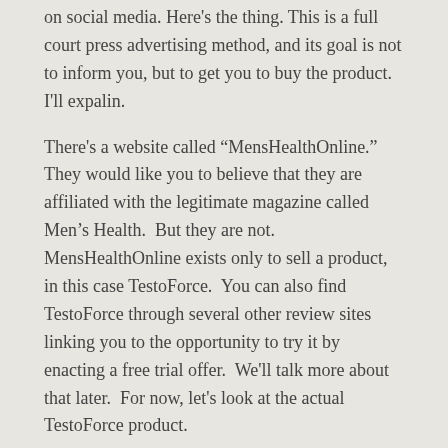on social media. Here's the thing. This is a full court press advertising method, and its goal is not to inform you, but to get you to buy the product. I'll expalin.
There's a website called “MensHealthOnline.”  They would like you to believe that they are affiliated with the legitimate magazine called Men’s Health.  But they are not.  MensHealthOnline exists only to sell a product, in this case TestoForce.  You can also find TestoForce through several other review sites linking you to the opportunity to try it by enacting a free trial offer.  We'll talk more about that later.  For now, let's look at the actual TestoForce product.
How TestoForce Works
[Figure (photo): Partial image visible at bottom of page, appears to be a blurred/soft-focus photograph with light gray and white tones]